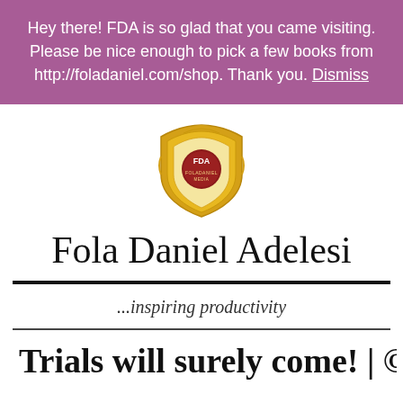Hey there! FDA is so glad that you came visiting. Please be nice enough to pick a few books from http://foladaniel.com/shop. Thank you. Dismiss
[Figure (logo): FDA shield/crest logo with gold decorative border and red circle with 'FDA' text in center, with 'FOLADANIEL MEDIA' text at bottom]
Fola Daniel Adelesi
...inspiring productivity
Trials will surely come! | ©